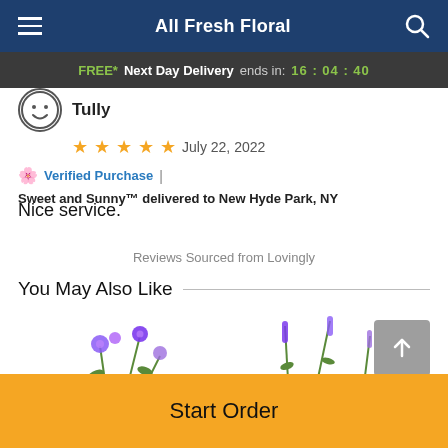All Fresh Floral
FREE* Next Day Delivery ends in: 16:04:40
Tully
★★★★★  July 22, 2022
Verified Purchase | Sweet and Sunny™ delivered to New Hyde Park, NY
Nice service.
Reviews Sourced from Lovingly
You May Also Like
[Figure (photo): Purple flower arrangement product images in the You May Also Like section]
Start Order